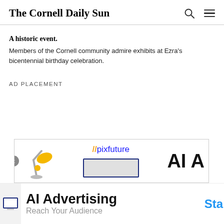The Cornell Daily Sun
A historic event. Members of the Cornell community admire exhibits at Ezra's bicentennial birthday celebration.
AD PLACEMENT
[Figure (illustration): Pixfuture AI Advertising banner ad showing a desk lamp illustration, the //pixfuture logo, a screen/monitor graphic, and bold text reading 'AI A'. Below: a monitor illustration, 'AI Advertising', 'Reach Your Audience', and 'Sta' CTA button.]